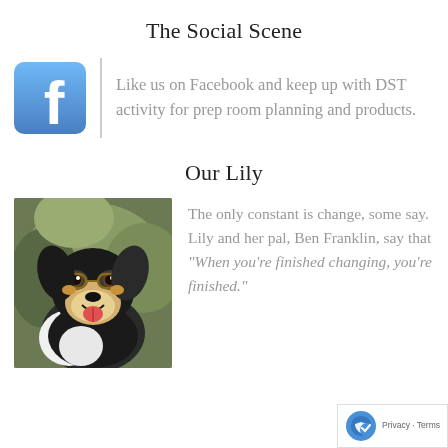The Social Scene
[Figure (logo): Facebook logo icon — blue rounded square with white letter f]
Like us on Facebook and keep up with DST activity for prep room planning and products.
Our Lily
[Figure (photo): A dog (Lily) wearing round glasses, smiling, outdoors with green foliage background]
The only constant is change, some say. Lily and her pal, Ben Franklin, say that "When you're finished changing, you're finished."
Privacy · Terms